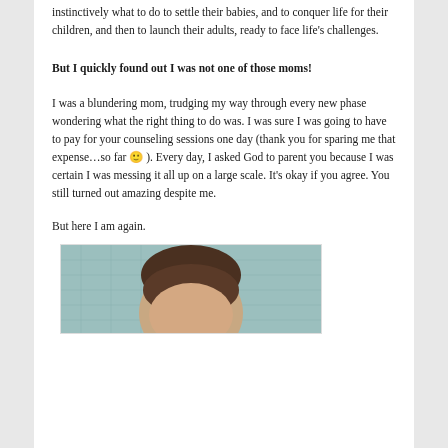instinctively what to do to settle their babies, and to conquer life for their children, and then to launch their adults, ready to face life's challenges.
But I quickly found out I was not one of those moms!
I was a blundering mom, trudging my way through every new phase wondering what the right thing to do was. I was sure I was going to have to pay for your counseling sessions one day (thank you for sparing me that expense…so far 🙂 ). Every day, I asked God to parent you because I was certain I was messing it all up on a large scale. It's okay if you agree. You still turned out amazing despite me.
But here I am again.
[Figure (photo): A baby or young child with dark hair, lying on a light blue quilted surface, photographed from above.]